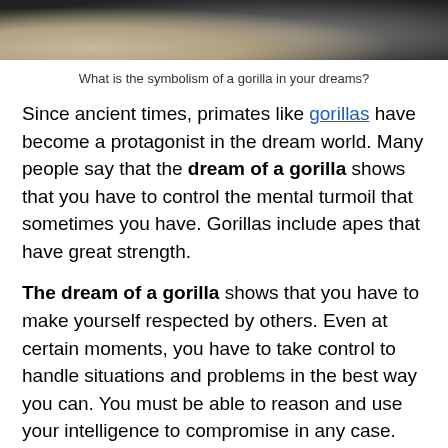[Figure (photo): Close-up photo of gorillas, showing dark fur and sandy/rocky ground, cropped at top of page]
What is the symbolism of a gorilla in your dreams?
Since ancient times, primates like gorillas have become a protagonist in the dream world. Many people say that the dream of a gorilla shows that you have to control the mental turmoil that sometimes you have. Gorillas include apes that have great strength.
The dream of a gorilla shows that you have to make yourself respected by others. Even at certain moments, you have to take control to handle situations and problems in the best way you can. You must be able to reason and use your intelligence to compromise in any case.